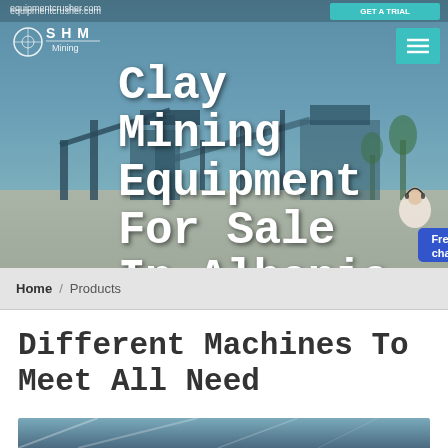equipmentcrusher.com
[Figure (screenshot): Website hero banner with mining equipment/industrial plant background image in blue-grey tones. Shows SHM Mining logo on left, hamburger menu button (teal) on right, large white title text 'Clay Mining Equipment For Sale In Albania', and a customer service avatar with 'Free chat' blue button in bottom right corner.]
Clay Mining Equipment For Sale In Albania
Home / Products
Different Machines To Meet All Need
[Figure (photo): Partial view of an industrial building or factory interior with metal roof structure visible, blue-grey toned photo, cropped at bottom of page.]